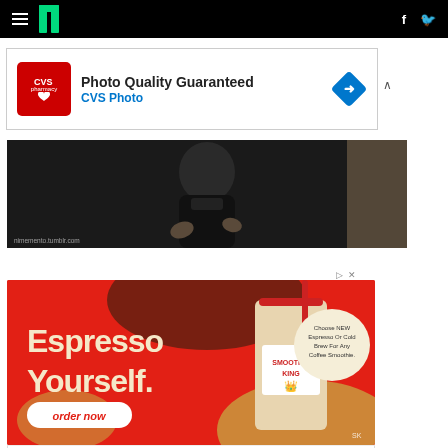HuffPost navigation bar with hamburger menu, logo, Facebook and Twitter icons
[Figure (screenshot): CVS Pharmacy advertisement: Photo Quality Guaranteed - CVS Photo, with red CVS logo and blue diamond arrow icon]
[Figure (photo): Person in black turtleneck making hand gestures, dark background, watermark: nimemento.tumblr.com]
[Figure (screenshot): Smoothie King advertisement: Espresso Yourself. Order now. Smoothie King cup on red background with brown blob design. Choose NEW Espresso or Cold Brew For Any Coffee Smoothie.]
$5 20oz Smoothies 'til 11am